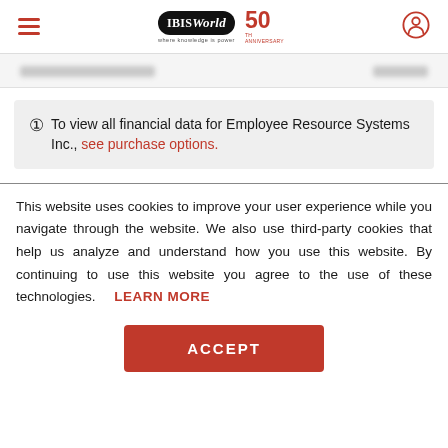IBISWorld 50th Anniversary
To view all financial data for Employee Resource Systems Inc., see purchase options.
This website uses cookies to improve your user experience while you navigate through the website. We also use third-party cookies that help us analyze and understand how you use this website. By continuing to use this website you agree to the use of these technologies. LEARN MORE
ACCEPT